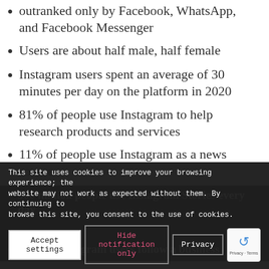outranked only by Facebook, WhatsApp, and Facebook Messenger
Users are about half male, half female
Instagram users spent an average of 30 minutes per day on the platform in 2020
81% of people use Instagram to help research products and services
11% of people use Instagram as a news source
500 million people use Instagram Stories every day
90% of Instagram users follow a business account on average 1
This site uses cookies to improve your browsing experience; the website may not work as expected without them. By continuing to browse this site, you consent to the use of cookies.